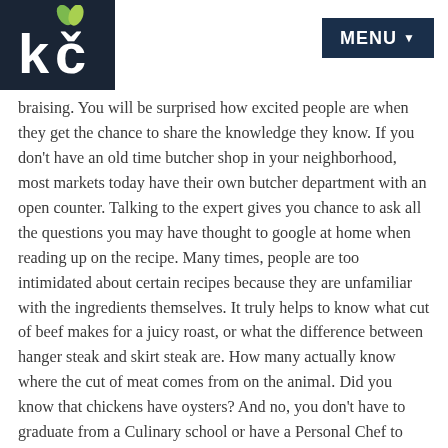KD logo and MENU button
braising. You will be surprised how excited people are when they get the chance to share the knowledge they know. If you don't have an old time butcher shop in your neighborhood, most markets today have their own butcher department with an open counter. Talking to the expert gives you chance to ask all the questions you may have thought to google at home when reading up on the recipe. Many times, people are too intimidated about certain recipes because they are unfamiliar with the ingredients themselves. It truly helps to know what cut of beef makes for a juicy roast, or what the difference between hanger steak and skirt steak are. How many actually know where the cut of meat comes from on the animal. Did you know that chickens have oysters? And no, you don't have to graduate from a Culinary school or have a Personal Chef to know the answers. Just shop with questions and ask away.

The same thing goes for finding a friendly local fishmonger.